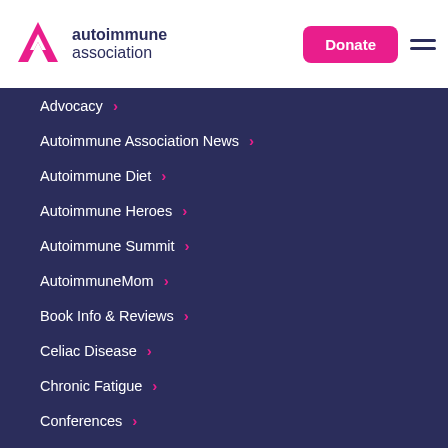[Figure (logo): Autoimmune Association logo with pink triangle/chevron icon and dark navy brand name text]
Advocacy
Autoimmune Association News
Autoimmune Diet
Autoimmune Heroes
Autoimmune Summit
AutoimmuneMom
Book Info & Reviews
Celiac Disease
Chronic Fatigue
Conferences